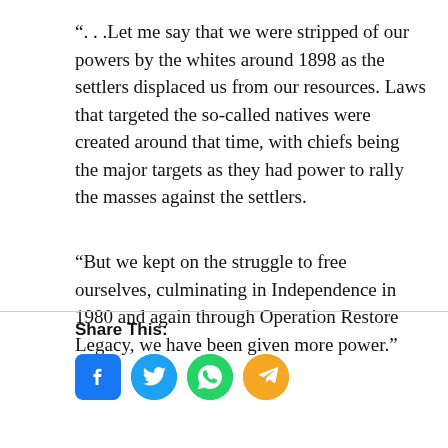“. . .Let me say that we were stripped of our powers by the whites around 1898 as the settlers displaced us from our resources. Laws that targeted the so-called natives were created around that time, with chiefs being the major targets as they had power to rally the masses against the settlers.
“But we kept on the struggle to free ourselves, culminating in Independence in 1980 and again through Operation Restore Legacy, we have been given more power.”
Share This: